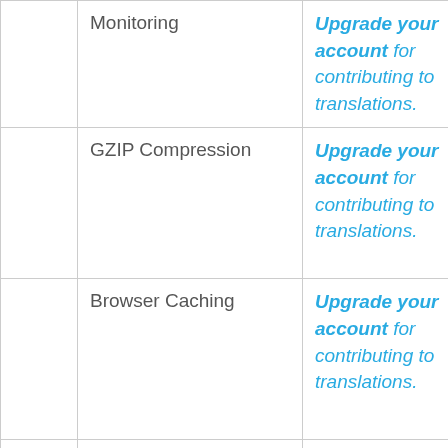|  | Feature | Description | Action |
| --- | --- | --- | --- |
|  | Monitoring | Upgrade your account for contributing to translations. | Details |
|  | GZIP Compression | Upgrade your account for contributing to translations. | Details |
|  | Browser Caching | Upgrade your account for contributing to translations. | Details |
|  | Performance Report | Upgrade your account for contributing to translations. | Details |